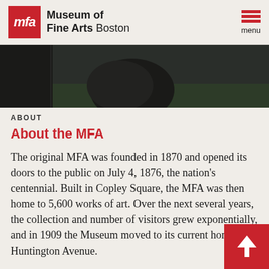Museum of Fine Arts Boston
[Figure (photo): Outdoor sculpture and fountain at the MFA Boston]
ABOUT
About the MFA
The original MFA was founded in 1870 and opened its doors to the public on July 4, 1876, the nation's centennial. Built in Copley Square, the MFA was then home to 5,600 works of art. Over the next several years, the collection and number of visitors grew exponentially, and in 1909 the Museum moved to its current home on Huntington Avenue.